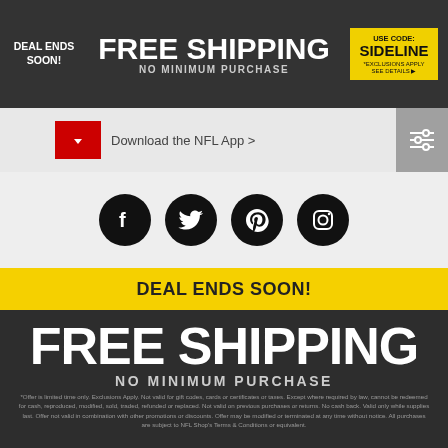DEAL ENDS SOON! FREE SHIPPING NO MINIMUM PURCHASE USE CODE: SIDELINE *EXCLUSIONS APPLY SEE DETAILS
[Figure (screenshot): NFL App download bar with red button and download link]
[Figure (infographic): Social media icons: Facebook, Twitter, Pinterest, Instagram]
DEAL ENDS SOON!
FREE SHIPPING
NO MINIMUM PURCHASE
USE CODE: SIDELINE
*Offer is limited time only. Exclusions Apply. Not valid for gift codes, cards or certificates or taxes. Except where required by law, cannot be redeemed for cash, reproduced, modified, sold, traded, refunded or replaced. Not valid on previous purchases or returns. No cash back. Valid only while supplies last. Offer not valid in combination with other promotions or discounts. Offer may be modified or terminated at any time without notice. All purchases are subject to NFL Shop's Terms & Conditions or equivalent.